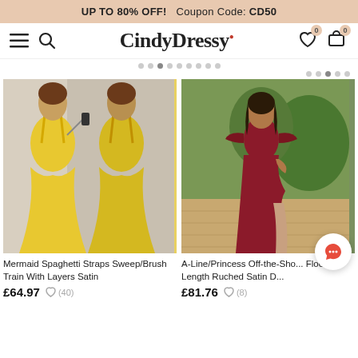UP TO 80% OFF!   Coupon Code: CD50
[Figure (logo): CindyDressy website navigation bar with hamburger menu, search icon, CindyDressy logo, wishlist and cart icons with 0 badges]
[Figure (photo): Woman wearing yellow mermaid spaghetti straps dress with sweep/brush train, photographed in mirror selfie style showing front and back]
Mermaid Spaghetti Straps Sweep/Brush Train With Layers Satin
£64.97
[Figure (photo): Woman wearing dark red/burgundy A-Line/Princess off-the-shoulder floor-length ruched satin dress with side slit, standing outdoors]
A-Line/Princess Off-the-Sho... Floor-Length Ruched Satin D...
£81.76